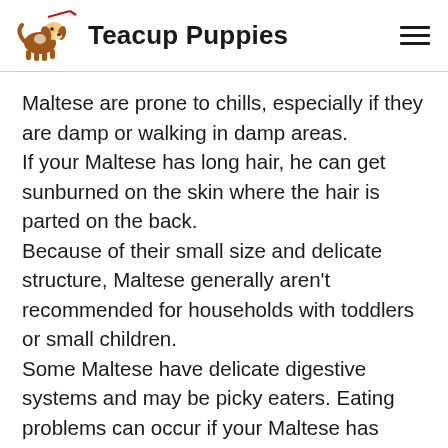Teacup Puppies
Maltese are prone to chills, especially if they are damp or walking in damp areas.
If your Maltese has long hair, he can get sunburned on the skin where the hair is parted on the back.
Because of their small size and delicate structure, Maltese generally aren't recommended for households with toddlers or small children.
Some Maltese have delicate digestive systems and may be picky eaters. Eating problems can occur if your Maltese has teeth or gum problems as well. If your Maltese is